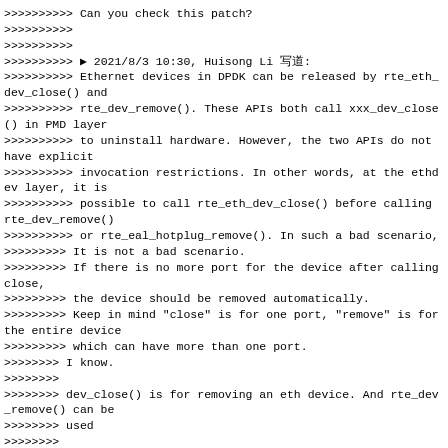>>>>>>>>>> Can you check this patch?
>>>>>>>>>>
>>>>>>>>>>
>>>>>>>>>> ▶ 2021/8/3 10:30, Huisong Li 写道:
>>>>>>>>>> Ethernet devices in DPDK can be released by rte_eth_dev_close() and
>>>>>>>>>> rte_dev_remove(). These APIs both call xxx_dev_close() in PMD layer
>>>>>>>>>> to uninstall hardware. However, the two APIs do not have explicit
>>>>>>>>>> invocation restrictions. In other words, at the ethdev layer, it is
>>>>>>>>>> possible to call rte_eth_dev_close() before calling rte_dev_remove()
>>>>>>>>>> or rte_eal_hotplug_remove(). In such a bad scenario,
>>>>>>>>> It is not a bad scenario.
>>>>>>>>> If there is no more port for the device after calling close,
>>>>>>>>> the device should be removed automatically.
>>>>>>>>> Keep in mind "close" is for one port, "remove" is for the entire device
>>>>>>>>> which can have more than one port.
>>>>>>>> I know.
>>>>>>>>
>>>>>>>> dev_close() is for removing an eth device. And rte_dev_remove() can be
>>>>>>>> used
>>>>>>>>
>>>>>>>> for removing the rte device and all its eth